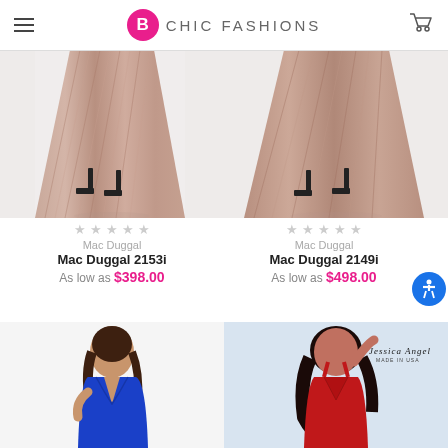B CHIC FASHIONS
[Figure (photo): Lower half of a model wearing a shimmery mauve/rose gold pleated gown with black heeled sandals - Mac Duggal 2153i]
★★★★★ Mac Duggal
Mac Duggal 2153i
As low as $398.00
[Figure (photo): Lower half of a model wearing a shimmery mauve/rose gold pleated gown with black heeled sandals - Mac Duggal 2149i]
★★★★★ Mac Duggal
Mac Duggal 2149i
As low as $498.00
[Figure (photo): Model wearing a royal blue strapless gown with deep V cutout]
[Figure (photo): Model wearing a red halter deep-V gown, Jessica Angel brand label visible in upper right]